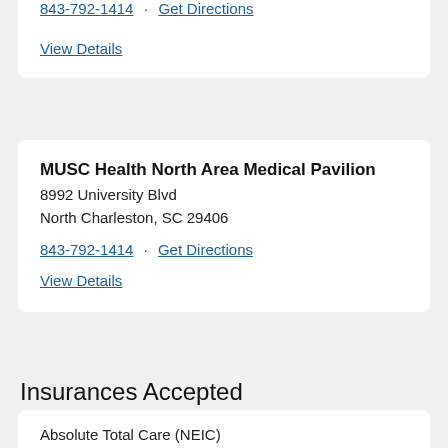843-792-1414 · Get Directions
View Details
MUSC Health North Area Medical Pavilion
8992 University Blvd
North Charleston, SC 29406
843-792-1414 · Get Directions
View Details
Insurances Accepted
Absolute Total Care (NEIC)